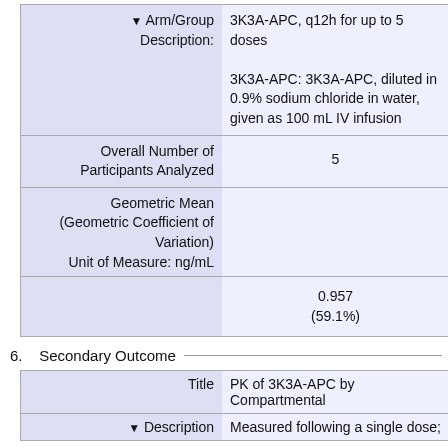| Label | Value |
| --- | --- |
| ▼ Arm/Group Description: | 3K3A-APC, q12h for up to 5 doses

3K3A-APC: 3K3A-APC, diluted in 0.9% sodium chloride in water, given as 100 mL IV infusion |
| Overall Number of Participants Analyzed | 5 |
| Geometric Mean (Geometric Coefficient of Variation)
Unit of Measure: ng/mL | 0.957
(59.1%) |
6.   Secondary Outcome
| Label | Value |
| --- | --- |
| Title | PK of 3K3A-APC by Compartmental |
| ▼ Description | Measured following a single dose; |